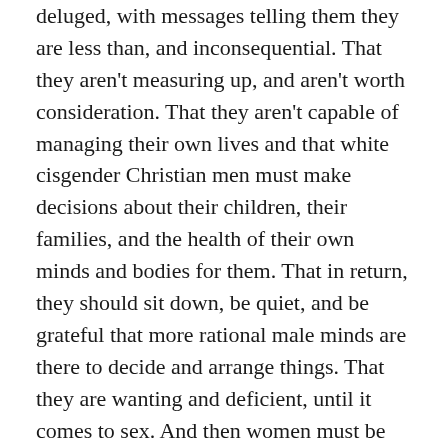deluged, with messages telling them they are less than, and inconsequential. That they aren't measuring up, and aren't worth consideration. That they aren't capable of managing their own lives and that white cisgender Christian men must make decisions about their children, their families, and the health of their own minds and bodies for them. That in return, they should sit down, be quiet, and be grateful that more rational male minds are there to decide and arrange things. That they are wanting and deficient, until it comes to sex. And then women must be available, and not just available, but enthusiastic, uncomplaining, grateful, maybe a little kinky, with perfect bodies and a horrifying proliferation of surgical remedies for simple human differences. Those women who dare to speak out against sexual assaults are almost always doubted and vilified, then